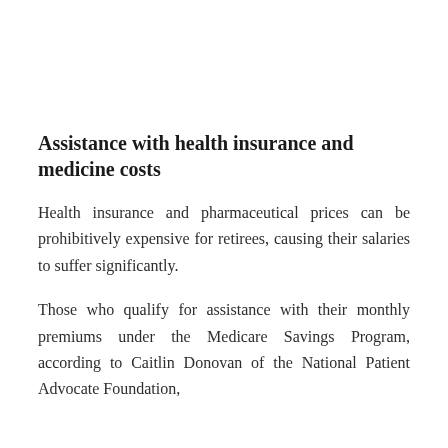Assistance with health insurance and medicine costs
Health insurance and pharmaceutical prices can be prohibitively expensive for retirees, causing their salaries to suffer significantly.
Those who qualify for assistance with their monthly premiums under the Medicare Savings Program, according to Caitlin Donovan of the National Patient Advocate Foundation,